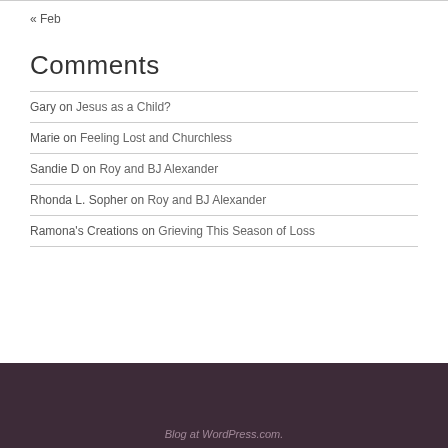« Feb
Comments
Gary on Jesus as a Child?
Marie on Feeling Lost and Churchless
Sandie D on Roy and BJ Alexander
Rhonda L. Sopher on Roy and BJ Alexander
Ramona's Creations on Grieving This Season of Loss
Blog at WordPress.com.